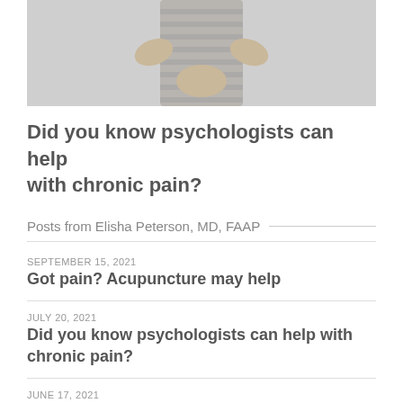[Figure (photo): Child in striped shirt holding stomach area, cropped photo showing torso only]
Did you know psychologists can help with chronic pain?
Posts from Elisha Peterson, MD, FAAP
SEPTEMBER 15, 2021
Got pain? Acupuncture may help
JULY 20, 2021
Did you know psychologists can help with chronic pain?
JUNE 17, 2021